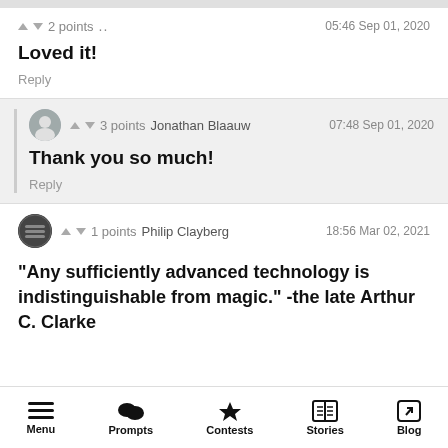▲ ▼ 2 points .. 05:46 Sep 01, 2020
Loved it!
Reply
[Figure (other): User avatar for Jonathan Blaauw]
▲ ▼ 3 points Jonathan Blaauw 07:48 Sep 01, 2020
Thank you so much!
Reply
[Figure (other): User avatar for Philip Clayberg]
▲ ▼ 1 points Philip Clayberg 18:56 Mar 02, 2021
“Any sufficiently advanced technology is indistinguishable from magic.” -the late Arthur C. Clarke
Menu  Prompts  Contests  Stories  Blog